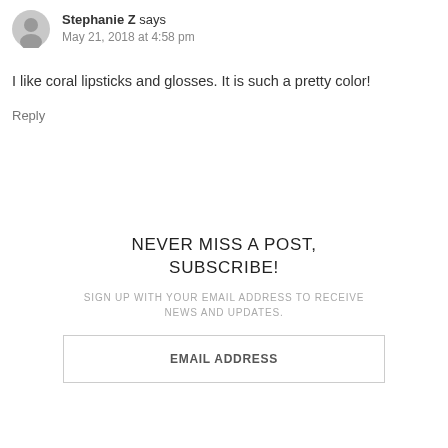[Figure (illustration): Circular gray avatar/profile icon placeholder]
Stephanie Z says
May 21, 2018 at 4:58 pm
I like coral lipsticks and glosses. It is such a pretty color!
Reply
NEVER MISS A POST, SUBSCRIBE!
SIGN UP WITH YOUR EMAIL ADDRESS TO RECEIVE NEWS AND UPDATES.
EMAIL ADDRESS